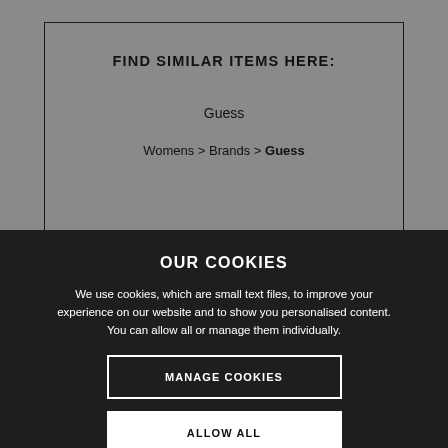FIND SIMILAR ITEMS HERE:
Guess
Womens > Brands > Guess
Reviews
OUR COOKIES
We use cookies, which are small text files, to improve your experience on our website and to show you personalised content. You can allow all or manage them individually.
MANAGE COOKIES
ALLOW ALL